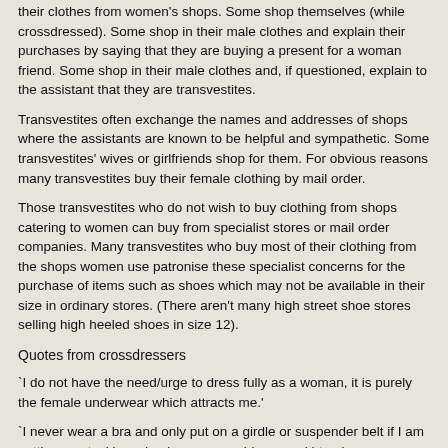their clothes from women's shops. Some shop themselves (while crossdressed). Some shop in their male clothes and explain their purchases by saying that they are buying a present for a woman friend. Some shop in their male clothes and, if questioned, explain to the assistant that they are transvestites.
Transvestites often exchange the names and addresses of shops where the assistants are known to be helpful and sympathetic. Some transvestites' wives or girlfriends shop for them. For obvious reasons many transvestites buy their female clothing by mail order.
Those transvestites who do not wish to buy clothing from shops catering to women can buy from specialist stores or mail order companies. Many transvestites who buy most of their clothing from the shops women use patronise these specialist concerns for the purchase of items such as shoes which may not be available in their size in ordinary stores. (There aren't many high street shoe stores selling high heeled shoes in size 12).
Quotes from crossdressers
`I do not have the need/urge to dress fully as a woman, it is purely the female underwear which attracts me.'
`I never wear a bra and only put on a girdle or suspender belt if I am putting on stockings. I only ever wear blouses, skirts, dresses, knickers and petticoats.'
`I dress as a woman and I do not see why I shouldn't. Lots of women wear male clothing - jeans, trousers, shirts and jumpers. It is sexual discrimination to say that men shouldn't wear feminine clothes.